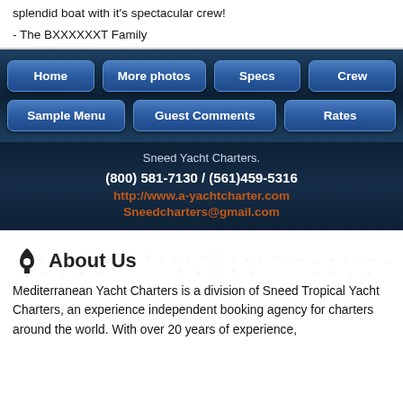splendid boat with it's spectacular crew!
- The BXXXXXXT Family
Home
More photos
Specs
Crew
Sample Menu
Guest Comments
Rates
Sneed Yacht Charters.
(800) 581-7130 / (561)459-5316
http://www.a-yachtcharter.com
Sneedcharters@gmail.com
About Us
Mediterranean Yacht Charters is a division of Sneed Tropical Yacht Charters, an experience independent booking agency for charters around the world. With over 20 years of experience,